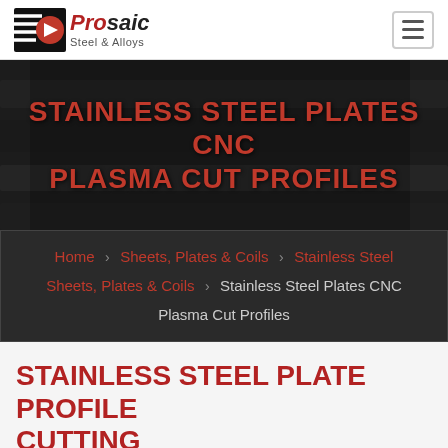Prosaic Steel & Alloys
STAINLESS STEEL PLATES CNC PLASMA CUT PROFILES
Home > Sheets, Plates & Coils > Stainless Steel Sheets, Plates & Coils > Stainless Steel Plates CNC Plasma Cut Profiles
STAINLESS STEEL PLATE PROFILE CUTTING
STAINLESS STEEL PLATE PROFILE CUTTING, SS PLATE PROFILE